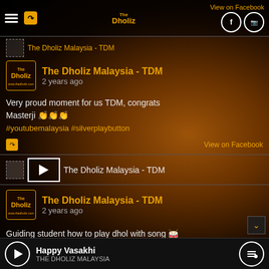The Dholiz Malaysia - TDM | View on Facebook
The Dholiz Malaysia - TDM
2 years ago
Very proud moment for us TDM, congrats Masterji 👏👏👏
#youtubemalaysia #silverplaybutton
View on Facebook
The Dholiz Malaysia - TDM
2 years ago
Guiding student how to play dhol with song 🥁
Happy Vasakhi | THE DHOLIZ MALAYSIA